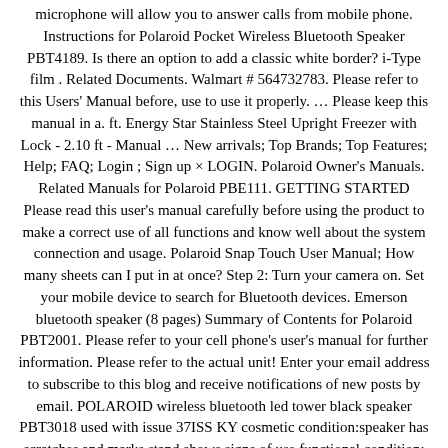microphone will allow you to answer calls from mobile phone. Instructions for Polaroid Pocket Wireless Bluetooth Speaker PBT4189. Is there an option to add a classic white border? i-Type film . Related Documents. Walmart # 564732783. Please refer to this Users' Manual before, use to use it properly. … Please keep this manual in a. ft. Energy Star Stainless Steel Upright Freezer with Lock - 2.10 ft - Manual … New arrivals; Top Brands; Top Features; Help; FAQ; Login ; Sign up × LOGIN. Polaroid Owner's Manuals. Related Manuals for Polaroid PBE111. GETTING STARTED Please read this user's manual carefully before using the product to make a correct use of all functions and know well about the system connection and usage. Polaroid Snap Touch User Manual; How many sheets can I put in at once? Step 2: Turn your camera on. Set your mobile device to search for Bluetooth devices. Emerson bluetooth speaker (8 pages) Summary of Contents for Polaroid PBT2001. Please refer to your cell phone's user's manual for further information. Please refer to the actual unit! Enter your email address to subscribe to this blog and receive notifications of new posts by email. POLAROID wireless bluetooth led tower black speaker PBT3018 used with issue 37ISS KY cosmetic condition:speaker has scratches and marks stand shows signs of use functional condition: tested feedback customer service please let us know if you have a problem with your order item before … Add some HD to your day. It delivers powerful and clear sound. Be respectful, keep it civil and stay on topic. Close the battery compartment. Polaroid Owner's Manuals. Looking for a manual?